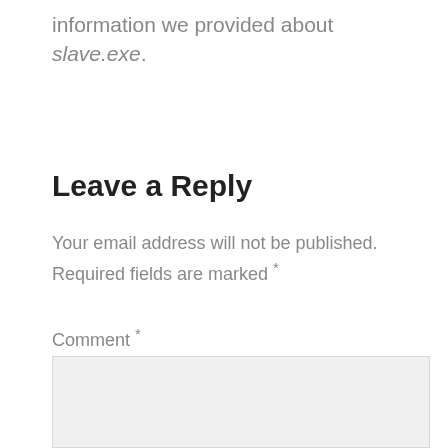information we provided about slave.exe.
Leave a Reply
Your email address will not be published. Required fields are marked *
Comment *